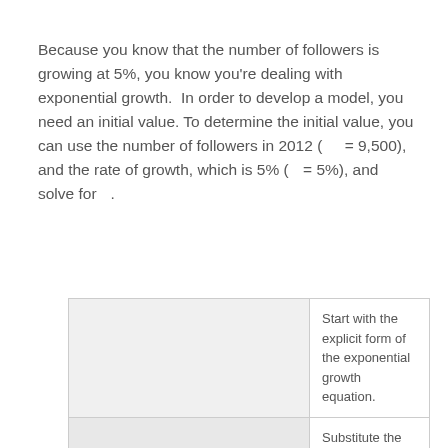Because you know that the number of followers is growing at 5%, you know you're dealing with exponential growth.  In order to develop a model, you need an initial value. To determine the initial value, you can use the number of followers in 2012 (  = 9,500), and the rate of growth, which is 5% (  = 5%), and solve for  .
| (formula column) | Description |
| --- | --- |
|  | Start with the explicit form of the exponential growth equation. |
|  | Substitute the growth rate, 5%, written as a decimal for  . |
|  | Substitute the initial |